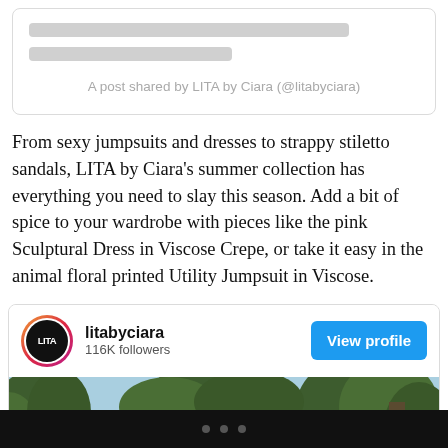[Figure (screenshot): Embedded social media post card with skeleton loading lines and attribution text 'A post shared by LITA by Ciara (@litabyciara)']
From sexy jumpsuits and dresses to strappy stiletto sandals, LITA by Ciara's summer collection has everything you need to slay this season. Add a bit of spice to your wardrobe with pieces like the pink Sculptural Dress in Viscose Crepe, or take it easy in the animal floral printed Utility Jumpsuit in Viscose.
[Figure (screenshot): Instagram profile embed card for litabyciara showing avatar, username, 116K followers, View profile button, and a photo of a woman near trees with a blue sky background.]